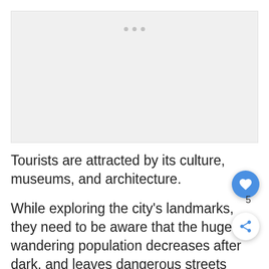[Figure (photo): Large image placeholder (grey rectangle) at the top of the page, with three grey dots near the top center acting as a carousel indicator.]
Tourists are attracted by its culture, museums, and architecture.
While exploring the city's landmarks, they need to be aware that the huge wandering population decreases after dark, and leaves dangerous streets susceptible to thieves and lawbreakers.